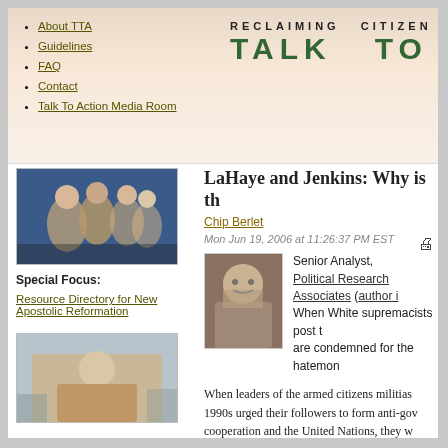RECLAIMING CITIZEN
TALK TO
About TTA
Guidelines
FAQ
Contact
Talk To Action Media Room
LaHaye and Jenkins: Why is th
Chip Berlet
Mon Jun 19, 2006 at 11:26:37 PM EST
[Figure (photo): Headshot photo of Chip Berlet, a man with glasses]
Senior Analyst,
Political Research Associates (author i
When White supremacists post t
are condemned for the hatemon
[Figure (photo): Photo of people at an event, group shot]
Special Focus:
Resource Directory for New Apostolic Reformation
[Figure (photo): Photo of a man in a tan jacket speaking or gesturing]
When leaders of the armed citizens militias 1990s urged their followers to form anti-go cooperation and the United Nations, they w spreading divisive conspiracy theories.
When Timothy LaHaye and Jerry Jenki